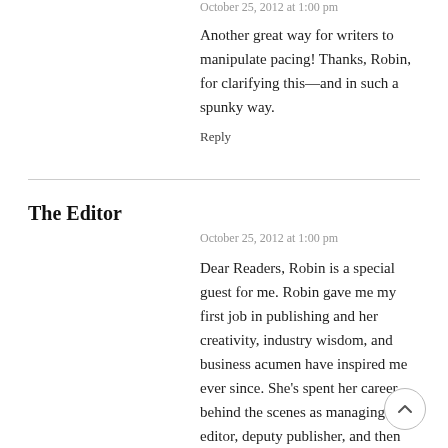October 25, 2012 at 1:00 pm
Another great way for writers to manipulate pacing! Thanks, Robin, for clarifying this—and in such a spunky way.
Reply
The Editor
October 25, 2012 at 1:00 pm
Dear Readers, Robin is a special guest for me. Robin gave me my first job in publishing and her creativity, industry wisdom, and business acumen have inspired me ever since. She's spent her career behind the scenes as managing editor, deputy publisher, and then publisher, with both trade publishers and book packagers. I'm so pleased she's finally stepping out with her editorial consulting business Red Pencil Consulting. Many publishers and individual writers will benefit from her creativity, encouragement, and wisdom.